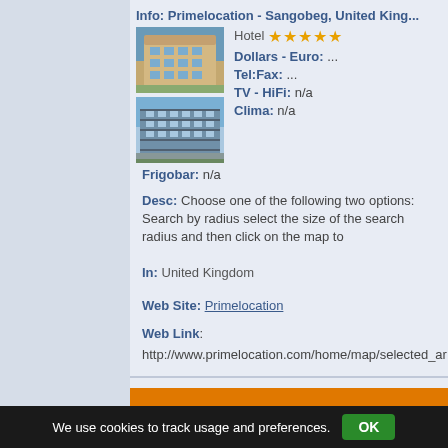Info: Primelocation - Sangobeg, United Kingdom
[Figure (photo): Hotel building photo 1 - warm stone facade]
[Figure (photo): Hotel building photo 2 - blue/grey modern building]
Hotel ★★★★★
Dollars - Euro: ...
Tel:Fax: ...
TV - HiFi: n/a
Clima: n/a
Frigobar: n/a
Desc: Choose one of the following two options: Search by radius select the size of the search radius and then click on the map to
In: United Kingdom
Web Site: Primelocation
Web Link: http://www.primelocation.com/home/map/selected_ar
[Figure (infographic): Orange bar divider]
system help
[Figure (photo): Second hotel building photo]
Info: system help - Sangobeg, United Kingdom
We use cookies to track usage and preferences. OK